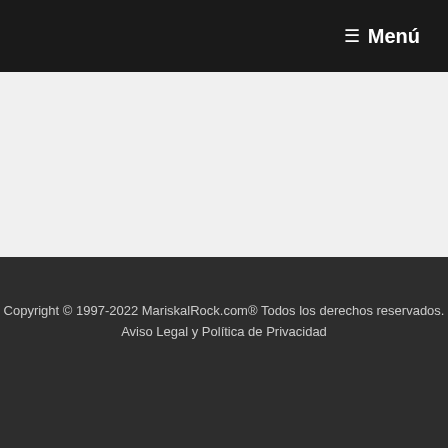☰ Menú
Copyright © 1997-2022 MariskalRock.com® Todos los derechos reservados.
Aviso Legal y Política de Privacidad